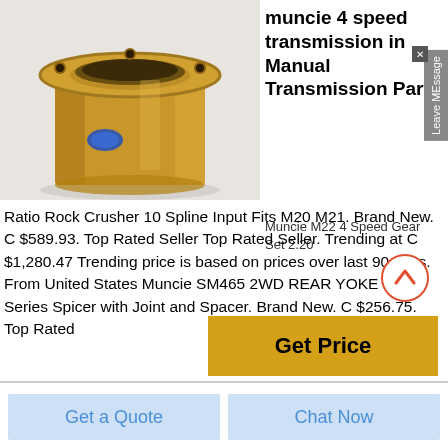[Figure (photo): A brass/bronze cylindrical bushing or sleeve with a flanged top, sitting on a white surface. A small blue oval label is visible on the side.]
muncie 4 speed transmission in Manual Transmission Parts
Muncie M22 4 Speed Gear Set 2.20 Ratio Rock Crusher 10 Spline Input Fits M20 M21. Brand New. C $589.93. Top Rated Seller Top Rated Seller. Trending at C $1,280.47 Trending price is based on prices over last 90 days. From United States Muncie SM465 2WD REAR YOKE 1410 Series Spicer with Joint and Spacer. Brand New. C $256.75. Top Rated
Get Price
Get a Quote
Chat Now